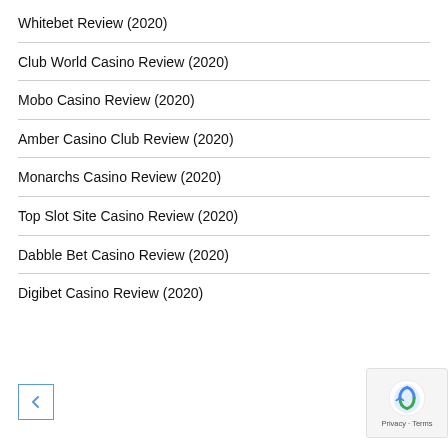Whitebet Review (2020)
Club World Casino Review (2020)
Mobo Casino Review (2020)
Amber Casino Club Review (2020)
Monarchs Casino Review (2020)
Top Slot Site Casino Review (2020)
Dabble Bet Casino Review (2020)
Digibet Casino Review (2020)